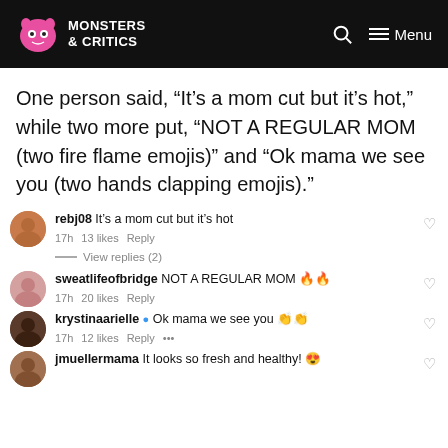Monsters & Critics — Menu
One person said, “It’s a mom cut but it’s hot,” while two more put, “NOT A REGULAR MOM (two fire flame emojis)” and “Ok mama we see you (two hands clapping emojis).”
rebj08 It’s a mom cut but it’s hot
17h  13 likes  Reply
View replies (2)
sweatlifeofbridge NOT A REGULAR MOM 🔥🔥
17h  20 likes  Reply
krystinaarielle ✅ Ok mama we see you 👏👏
17h  12 likes  Reply  ...
jmuellermama It looks so fresh and healthy! 😍